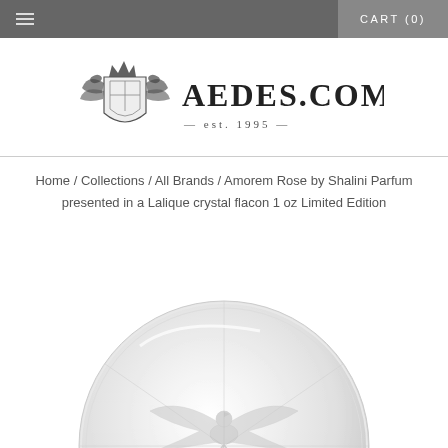☰  CART (0)
[Figure (logo): AEDES.COM logo with heraldic crest illustration and text '— est. 1995 —']
Home / Collections / All Brands / Amorem Rose by Shalini Parfum presented in a Lalique crystal flacon 1 oz Limited Edition
[Figure (photo): Close-up of a round Lalique crystal flacon with embossed floral and bird motifs in frosted glass, viewed from the front, cropped at bottom of page]